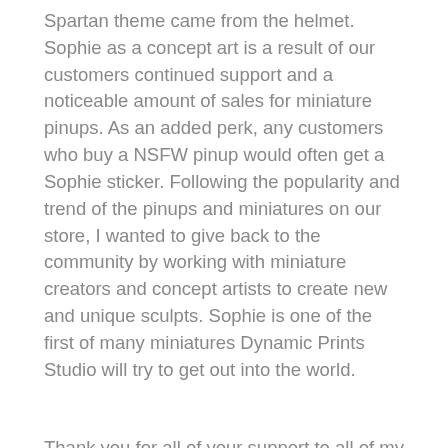Spartan theme came from the helmet. Sophie as a concept art is a result of our customers continued support and a noticeable amount of sales for miniature pinups. As an added perk, any customers who buy a NSFW pinup would often get a Sophie sticker. Following the popularity and trend of the pinups and miniatures on our store, I wanted to give back to the community by working with miniature creators and concept artists to create new and unique sculpts. Sophie is one of the first of many miniatures Dynamic Prints Studio will try to get out into the world.
Thank you for all of your support to all of my customers. You've made a dream a reality.
This sculpt stands at around 75mm from base to head